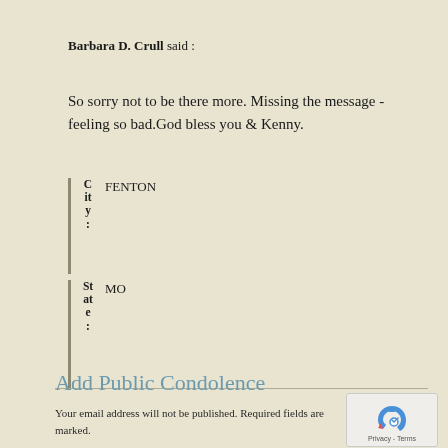Barbara D. Crull said :
So sorry not to be there more. Missing the message -feeling so bad.God bless you & Kenny.
City: FENTON
State: MO
Add Public Condolence
Your email address will not be published. Required fields are marked.